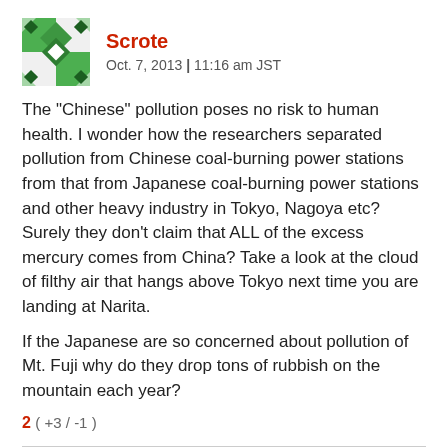[Figure (illustration): Green and white patterned avatar icon for user Scrote]
Scrote
Oct. 7, 2013 | 11:16 am JST
The "Chinese" pollution poses no risk to human health. I wonder how the researchers separated pollution from Chinese coal-burning power stations from that from Japanese coal-burning power stations and other heavy industry in Tokyo, Nagoya etc? Surely they don't claim that ALL of the excess mercury comes from China? Take a look at the cloud of filthy air that hangs above Tokyo next time you are landing at Narita.
If the Japanese are so concerned about pollution of Mt. Fuji why do they drop tons of rubbish on the mountain each year?
2 ( +3 / -1 )
[Figure (illustration): Pink and white patterned avatar icon for user marcelito]
marcelito
Oct. 7, 2013 | 03:18 pm JST
"All this fuss about nuclear power in Japan. What about China?! I have not heard one peep out of you 100% anti